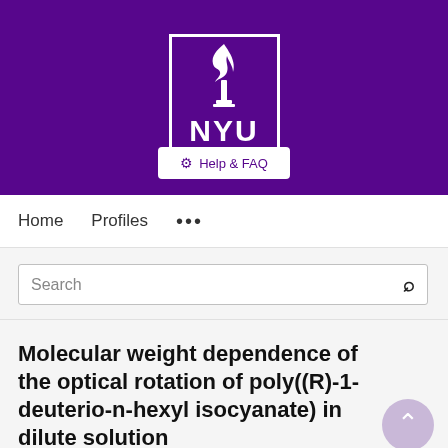[Figure (logo): NYU (New York University) logo: white torch flame icon above 'NYU' text in white, inside a white-bordered square box, on a purple background with 'Help & FAQ' button below]
Home   Profiles   ...
Search
Molecular weight dependence of the optical rotation of poly((R)-1-deuterio-n-hexyl isocyanate) in dilute solution